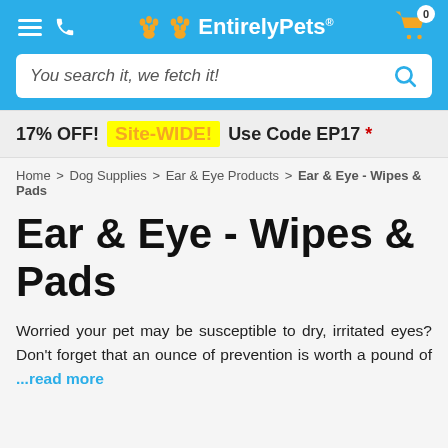EntirelyPets® — navigation header with hamburger, phone, paw icons, brand name, cart (0)
You search it, we fetch it!
17% OFF! Site-WIDE! Use Code EP17 *
Home > Dog Supplies > Ear & Eye Products > Ear & Eye - Wipes & Pads
Ear & Eye - Wipes & Pads
Worried your pet may be susceptible to dry, irritated eyes? Don't forget that an ounce of prevention is worth a pound of ...read more